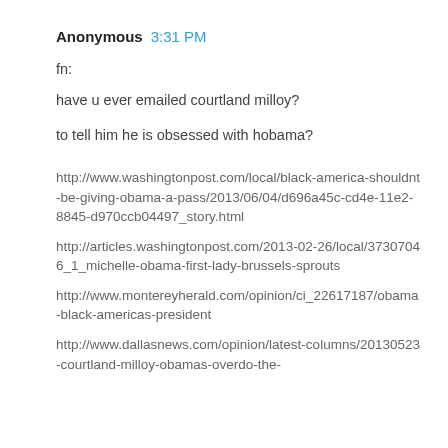Anonymous 3:31 PM
fn:
have u ever emailed courtland milloy?
to tell him he is obsessed with hobama?
http://www.washingtonpost.com/local/black-america-shouldnt-be-giving-obama-a-pass/2013/06/04/d696a45c-cd4e-11e2-8845-d970ccb04497_story.html
http://articles.washingtonpost.com/2013-02-26/local/37307046_1_michelle-obama-first-lady-brussels-sprouts
http://www.montereyherald.com/opinion/ci_22617187/obama-black-americas-president
http://www.dallasnews.com/opinion/latest-columns/20130523-courtland-milloy-obamas-overdo-the-